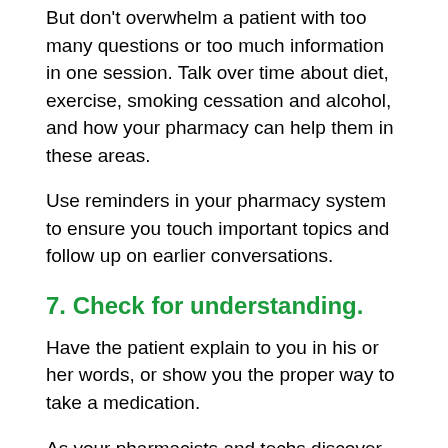But don't overwhelm a patient with too many questions or too much information in one session. Talk over time about diet, exercise, smoking cessation and alcohol, and how your pharmacy can help them in these areas.
Use reminders in your pharmacy system to ensure you touch important topics and follow up on earlier conversations.
7. Check for understanding.
Have the patient explain to you in his or her words, or show you the proper way to take a medication.
As your pharmacists and techs discover phrases and aids that work best with patients, have them share best practices.
Conversations matter
It doesn't matter how good the medications are if patients aren't taking them properly. Conversations are a critical component in the ...